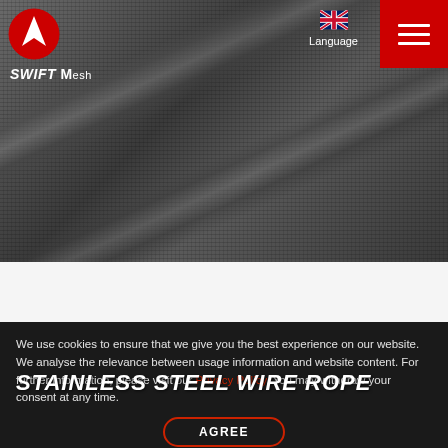SWIFT Mesh – Language
[Figure (photo): Dark grayscale hero image showing stainless steel wire rope / mesh material with bolts/rollers in industrial setting]
STAINLESS STEEL WIRE ROPE
We use cookies to ensure that we give you the best experience on our website. We analyse the relevance between usage information and website content. For further information, please visit our Privacy Policy. You may withdraw your consent at any time.
AGREE